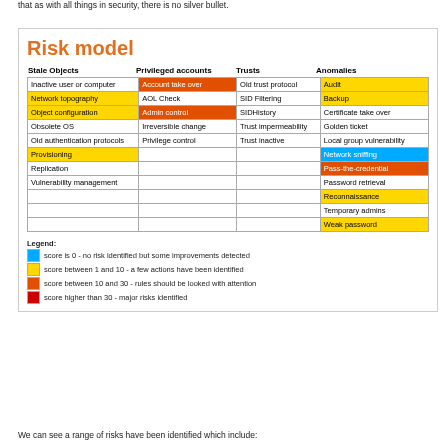that as with all things in security, there is no silver bullet.
Risk model
| Stale Objects | Privileged accounts | Trusts | Anomalies |
| --- | --- | --- | --- |
| Inactive user or computer | Account take over [orange] | Old trust protocol | Audit [yellow] |
| Network topography [yellow] | AOL Check | SID Filtering | Backup [yellow] |
| Object configuration [yellow] | Admin control [orange] | SIDHistory | Certificate take over |
| Obsolete OS | Irreversible change | Trust impermeability | Golden ticket |
| Old authentication protocols | Privilege control | Trust inactive | Local group vulnerability |
| Provisioning [yellow] |  |  | Network sniffing [blue] |
| Replication |  |  | Pass-the-credential [orange] |
| Vulnerability management |  |  | Password retrieval |
|  |  |  | Reconnaissance [yellow] |
|  |  |  | Temporary admins |
|  |  |  | Weak password [yellow] |
Legend:
score is 0 - no risk identified but some improvements detected
score between 1 and 10 - a few actions have been identified
score between 10 and 30 - rules should be looked with attention
score higher than 30 - major risks identified
We can see a range of risks have been identified which include: